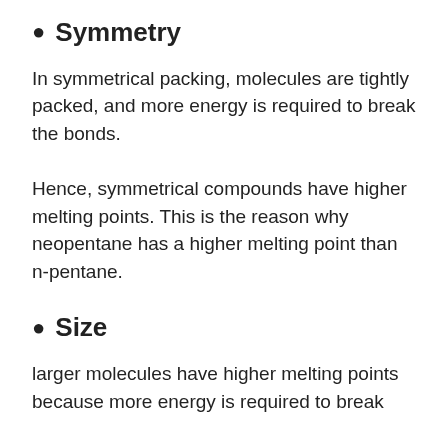• Symmetry
In symmetrical packing, molecules are tightly packed, and more energy is required to break the bonds.
Hence, symmetrical compounds have higher melting points. This is the reason why neopentane has a higher melting point than n-pentane.
• Size
larger molecules have higher melting points because more energy is required to break